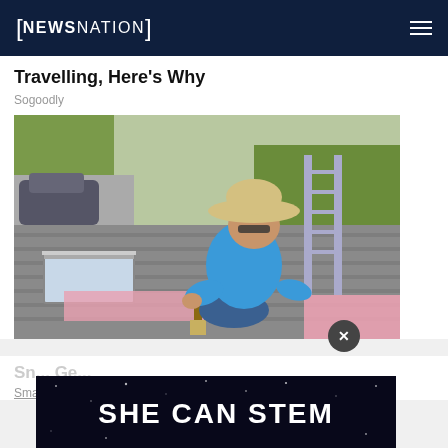[NEWSNATION] (navigation header with hamburger menu)
Travelling, Here's Why
Sogoodly
[Figure (photo): A roofer in a wide-brim hat and blue long-sleeve shirt crouches on a roof, working on shingles with tools. A ladder and greenery are visible in the background.]
[Figure (infographic): Dark advertisement banner reading 'SHE CAN STEM' in large bold white capital letters on a dark starry background.]
Sn... Ge...
Smart Consumer Update